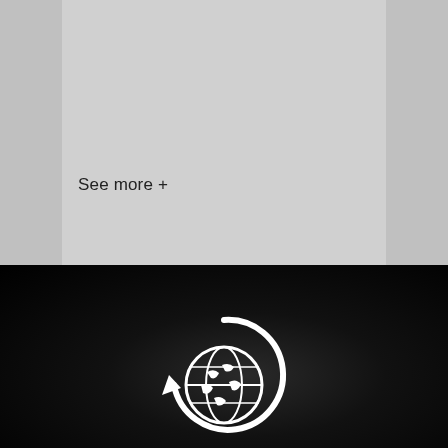See more +
[Figure (logo): White globe with recycling/circular arrow icon on dark background]